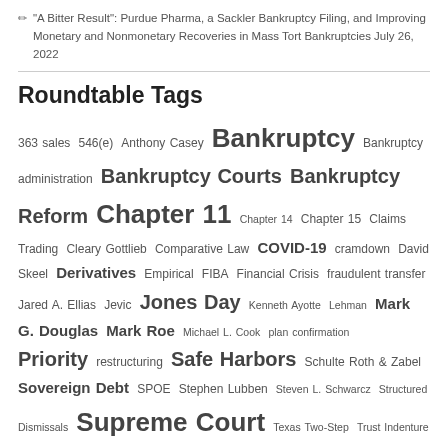"A Bitter Result": Purdue Pharma, a Sackler Bankruptcy Filing, and Improving Monetary and Nonmonetary Recoveries in Mass Tort Bankruptcies July 26, 2022
Roundtable Tags
363 sales 546(e) Anthony Casey Bankruptcy Bankruptcy administration Bankruptcy Courts Bankruptcy Reform Chapter 11 Chapter 14 Chapter 15 Claims Trading Cleary Gottlieb Comparative Law COVID-19 cramdown David Skeel Derivatives Empirical FIBA Financial Crisis fraudulent transfer Jared A. Ellias Jevic Jones Day Kenneth Ayotte Lehman Mark G. Douglas Mark Roe Michael L. Cook plan confirmation Priority restructuring Safe Harbors Schulte Roth & Zabel Sovereign Debt SPOE Stephen Lubben Steven L. Schwarcz Structured Dismissals Supreme Court Texas Two-Step Trust Indenture Act Valuation Weil Gotshal Workouts